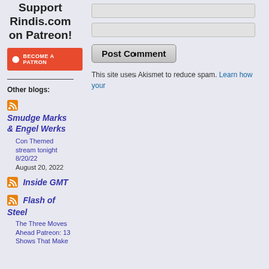Support Rindis.com on Patreon!
[Figure (logo): Become a Patron button (red/orange background with white Patreon circle icon and white text 'BECOME A PATRON')]
Other blogs:
[Figure (logo): RSS feed icon (orange square with white signal waves)]
Smudge Marks & Engel Werks
Con Themed stream tonight 8/20/22
August 20, 2022
[Figure (logo): RSS feed icon (orange square with white signal waves)]
Inside GMT
[Figure (logo): RSS feed icon (orange square with white signal waves)]
Flash of Steel
The Three Moves Ahead Patreon: 13 Shows That Make
This site uses Akismet to reduce spam. Learn how your